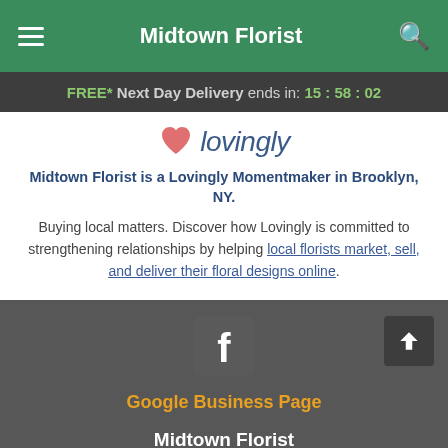Midtown Florist
FREE* Next Day Delivery ends in: 15:58:02
[Figure (logo): Lovingly logo with pink heart and italic blue text]
Midtown Florist is a Lovingly Momentmaker in Brooklyn, NY.
Buying local matters. Discover how Lovingly is committed to strengthening relationships by helping local florists market, sell, and deliver their floral designs online.
Google Business Page
Midtown Florist
531 Atlantic Ave Brooklyn NY 11217